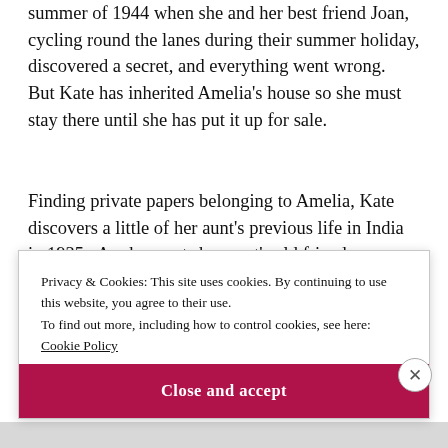summer of 1944 when she and her best friend Joan, cycling round the lanes during their summer holiday, discovered a secret, and everything went wrong.  But Kate has inherited Amelia's house so she must stay there until she has put it up for sale.
Finding private papers belonging to Amelia, Kate discovers a little of her aunt's previous life in India in 1935.  As she meets her aunt's old friends, we enter Amelia's world after both her missionary parents died
Privacy & Cookies: This site uses cookies. By continuing to use this website, you agree to their use.
To find out more, including how to control cookies, see here: Cookie Policy
Close and accept